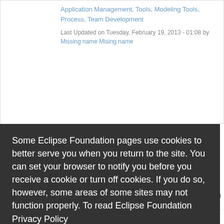Application Management, Tools, Modeling Tools, Process, Team Development
Last Updated on Tuesday, February 19, 2013 - 01:08 by Missing name Mising name
Some Eclipse Foundation pages use cookies to better serve you when you return to the site. You can set your browser to notify you before you receive a cookie or turn off cookies. If you do so, however, some areas of some sites may not function properly. To read Eclipse Foundation Privacy Policy
click here.
Decline
Allow cookies
12:23 by agileDSS Mising name